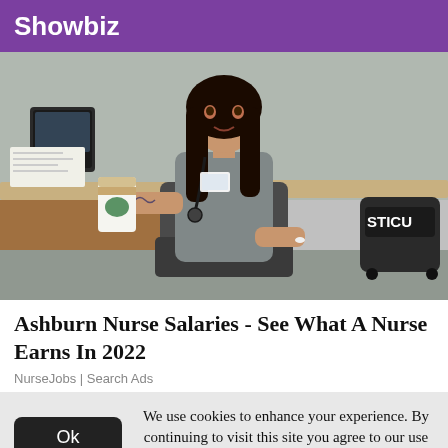Showbiz
[Figure (photo): A female nurse in gray scrubs sitting at a hospital workstation desk, holding a Starbucks coffee cup, with a stethoscope around her neck, long dark hair, a badge visible. A black labeled container reading STICU is visible in the background to the right. Office equipment and desks are visible.]
Ashburn Nurse Salaries - See What A Nurse Earns In 2022
NurseJobs | Search Ads
We use cookies to enhance your experience. By continuing to visit this site you agree to our use of cookies. Learn More